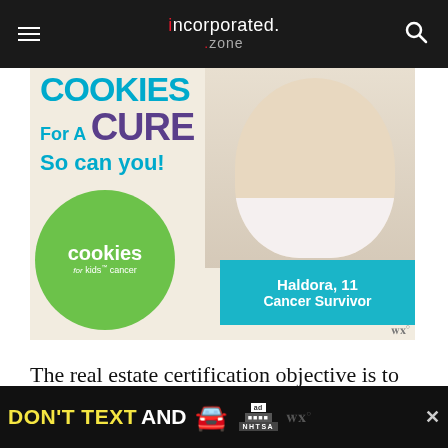incorporated.zone
[Figure (illustration): Advertisement for Cookies for Kids' Cancer charity showing a smiling young girl with cookies. Text reads 'For A CURE So can you!' with cookies logo in green circle and teal box reading 'Haldora, 11 Cancer Survivor'.]
The real estate certification objective is to ensure that the buyer and seller disclose the true and correct information about their sales price
[Figure (illustration): Bottom advertisement banner with text 'DON'T TEXT AND' with red car emoji, ad badge, and NHTSA logo on dark background.]